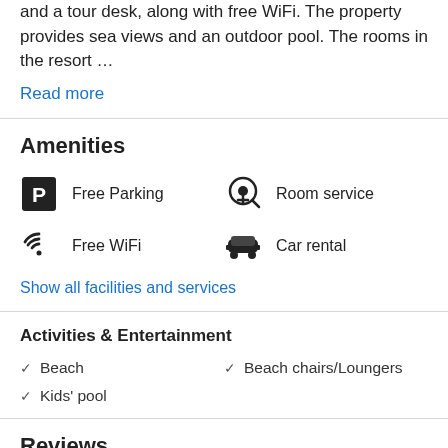and a tour desk, along with free WiFi. The property provides sea views and an outdoor pool. The rooms in the resort …
Read more
Amenities
Free Parking
Room service
Free WiFi
Car rental
Show all facilities and services
Activities & Entertainment
Beach
Beach chairs/Loungers
Kids' pool
Reviews